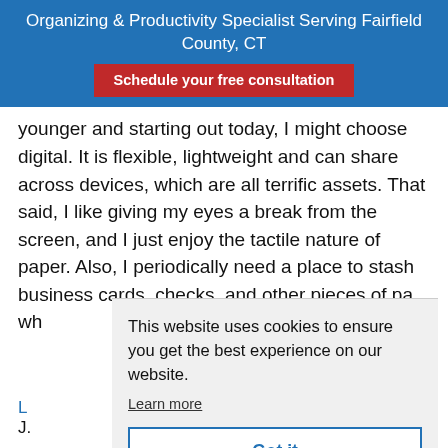Organizing & Productivity Specialist Serving Fairfield County, CT
Schedule your free consultation
younger and starting out today, I might choose digital. It is flexible, lightweight and can share across devices, which are all terrific assets. That said, I like giving my eyes a break from the screen, and I just enjoy the tactile nature of paper. Also, I periodically need a place to stash business cards, checks, and other pieces of pa... wh...
This website uses cookies to ensure you get the best experience on our website. Learn more
Got it
L... J...